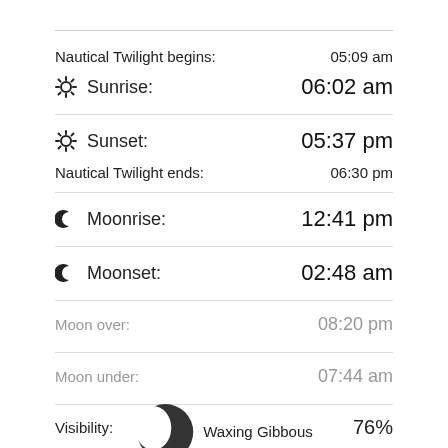Nautical Twilight begins: 05:09 am
☀ Sunrise: 06:02 am
☀ Sunset: 05:37 pm
Nautical Twilight ends: 06:30 pm
☾ Moonrise: 12:41 pm
☾ Moonset: 02:48 am
Moon over: 08:20 pm
Moon under: 07:44 am
Visibility: 76%
Waxing Gibbous